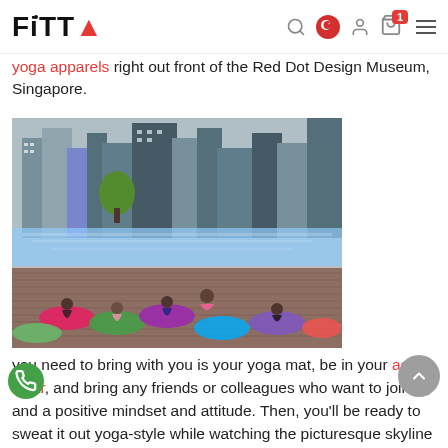FITTA
yoga apparels right out front of the Red Dot Design Museum, Singapore.
[Figure (photo): Outdoor yoga class on a wooden deck by the waterfront in Singapore, with city skyline and skyscrapers in background. Multiple participants on colorful yoga mats in seated poses, instructor facing them.]
you need to bring with you is your yoga mat, be in your active wear, and bring any friends or colleagues who want to join in, and a positive mindset and attitude. Then, you'll be ready to sweat it out yoga-style while watching the picturesque skyline as the